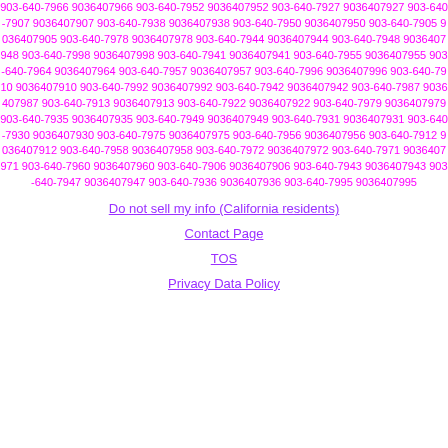903-640-7966 9036407966 903-640-7952 9036407952 903-640-7927 9036407927 903-640-7907 9036407907 903-640-7938 9036407938 903-640-7950 9036407950 903-640-7905 9036407905 903-640-7978 9036407978 903-640-7944 9036407944 903-640-7948 9036407948 903-640-7998 9036407998 903-640-7941 9036407941 903-640-7955 9036407955 903-640-7964 9036407964 903-640-7957 9036407957 903-640-7996 9036407996 903-640-7910 9036407910 903-640-7992 9036407992 903-640-7942 9036407942 903-640-7987 9036407987 903-640-7913 9036407913 903-640-7922 9036407922 903-640-7979 9036407979 903-640-7935 9036407935 903-640-7949 9036407949 903-640-7931 9036407931 903-640-7930 9036407930 903-640-7975 9036407975 903-640-7956 9036407956 903-640-7912 9036407912 903-640-7958 9036407958 903-640-7972 9036407972 903-640-7971 9036407971 903-640-7960 9036407960 903-640-7906 9036407906 903-640-7943 9036407943 903-640-7947 9036407947 903-640-7936 9036407936 903-640-7995 9036407995
Do not sell my info (California residents)
Contact Page
TOS
Privacy Data Policy